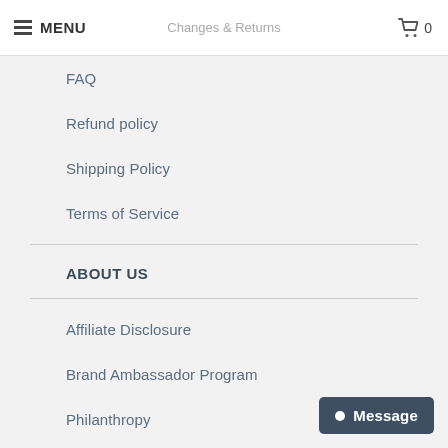MENU | Changes & Returns | 0
FAQ
Refund policy
Shipping Policy
Terms of Service
ABOUT US
Affiliate Disclosure
Brand Ambassador Program
Philanthropy
Terms of Service
Wholesale